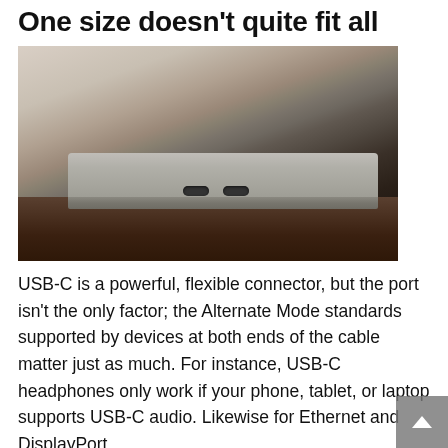One size doesn't quite fit all
[Figure (photo): Close-up photo of a laptop's edge showing two USB-C ports, resting on a wooden table. The laptop has a silver/space gray aluminum body.]
USB-C is a powerful, flexible connector, but the port isn't the only factor; the Alternate Mode standards supported by devices at both ends of the cable matter just as much. For instance, USB-C headphones only work if your phone, tablet, or laptop supports USB-C audio. Likewise for Ethernet and DisplayPort